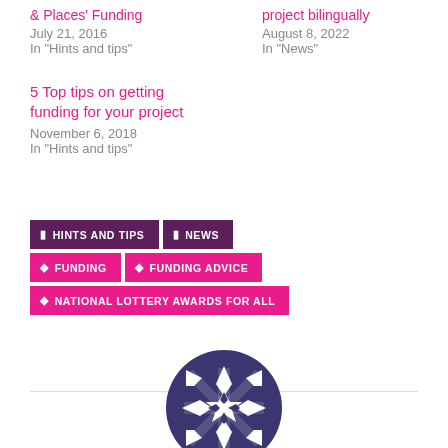& Places' Funding
July 21, 2016
In "Hints and tips"
project bilingually
August 8, 2022
In "News"
5 Top tips on getting funding for your project
November 6, 2018
In "Hints and tips"
HINTS AND TIPS
NEWS
FUNDING
FUNDING ADVICE
NATIONAL LOTTERY AWARDS FOR ALL
[Figure (logo): Circular geometric pattern logo in dark purple/navy with white star/snowflake-like geometric design]